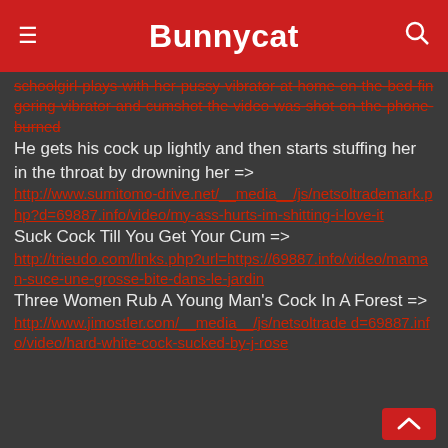Bunnycat
schoolgirl-plays-with-her-pussy-vibrator-at-home-on-the-bed-fingering-vibrator-and-cumshot-the-video-was-shot-on-the-phone-burned
He gets his cock up lightly and then starts stuffing her in the throat by drowning her => http://www.sumitomo-drive.net/__media__/js/netsoltrademark.php?d=69887.info/video/my-ass-hurts-im-shitting-i-love-it
Suck Cock Till You Get Your Cum => http://trieudo.com/links.php?url=https://69887.info/video/maman-suce-une-grosse-bite-dans-le-jardin
Three Women Rub A Young Man's Cock In A Forest => http://www.jimostler.com/__media__/js/netsoltrademark.php?d=69887.info/video/hard-white-cock-sucked-by-j-rose